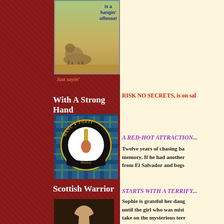[Figure (illustration): Western cartoon illustration with text 'is a hangin' offense!']
Just sayin'
With A Strong Hand
[Figure (logo): Clan Mackay crest badge with 'MANU FORTI' motto and dagger, on tartan background]
Scottish Warrior
[Figure (photo): Photo of a man with long dark hair dressed as a Scottish warrior]
RISK NO SECRETS, is on sal
A RED-HOT ATTRACTION...
Twelve years of chasing ba memory. If he had another from El Salvador and begs
STARTS WITH A TERRIFY...
Sophie is grateful her daug until the girl who was mist take on the mysterious ter she had never let go.
. . . AND UNLEASHES AN U
Sophie knows Central Ame she refuses to hide in fear. once, and he won't lose her
Excerpt